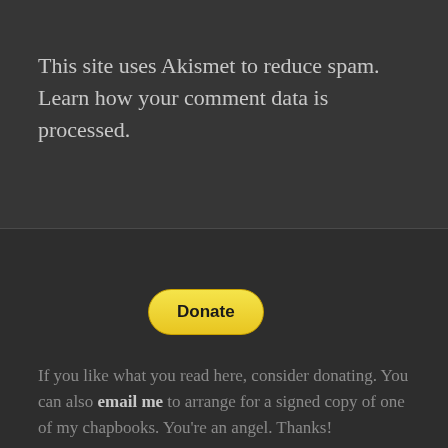This site uses Akismet to reduce spam. Learn how your comment data is processed.
[Figure (other): Yellow PayPal Donate button with rounded corners]
If you like what you read here, consider donating. You can also email me to arrange for a signed copy of one of my chapbooks. You're an angel. Thanks!